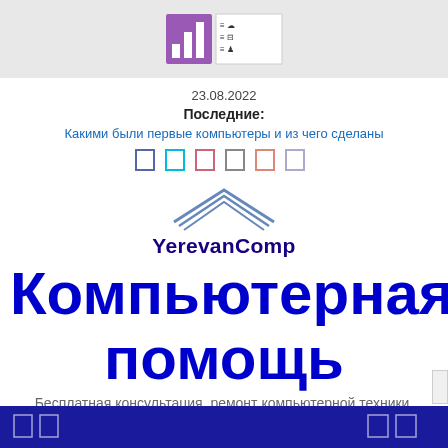[Figure (logo): Purple chart bar icon with small icons to the right in a gray top bar]
23.08.2022
Последние:
Какими были первые компьютеры и из чего сделаны
[Figure (other): Row of social media icon boxes in various colors]
[Figure (logo): YerevanComp logo: chevron/roof lines above brand name]
YerevanComp
Компьютерная помощь
Бесплатная консультация, ремонт компьютерной техники.